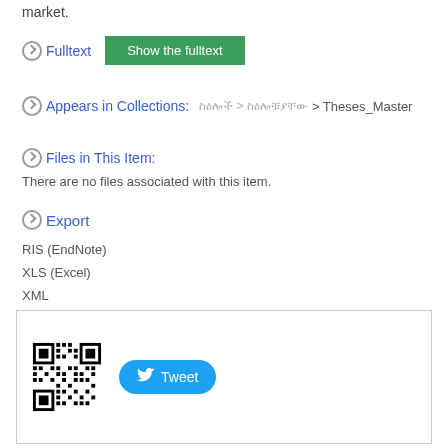market.
Fulltext
Show the fulltext
Appears in Collections:
ስዕሎች > ስዕሎቹያቸው > Theses_Master
Files in This Item:
There are no files associated with this item.
Export
RIS (EndNote)
XLS (Excel)
XML
Show full item record
[Figure (other): QR code and Tweet button in a bordered box]